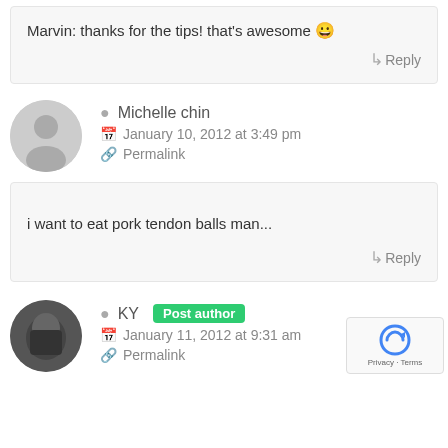Marvin: thanks for the tips! that's awesome 😀
↳ Reply
Michelle chin
January 10, 2012 at 3:49 pm
Permalink
i want to eat pork tendon balls man...
↳ Reply
KY Post author
January 11, 2012 at 9:31 am
Permalink